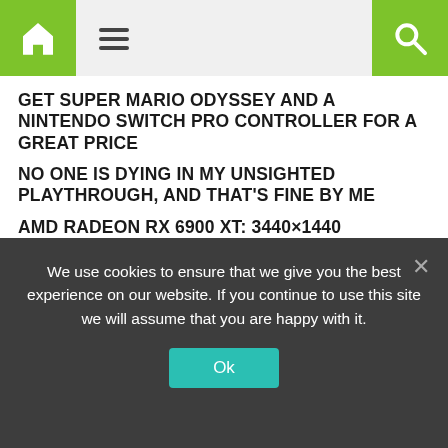Navigation bar with home icon, hamburger menu, and search icon
GET SUPER MARIO ODYSSEY AND A NINTENDO SWITCH PRO CONTROLLER FOR A GREAT PRICE
NO ONE IS DYING IN MY UNSIGHTED PLAYTHROUGH, AND THAT'S FINE BY ME
AMD RADEON RX 6900 XT: 3440×1440 ULTRAWIDE BENCHMARKS
RECENT POSTS
Saints Row: 7 Combat Tips
We use cookies to ensure that we give you the best experience on our website. If you continue to use this site we will assume that you are happy with it.